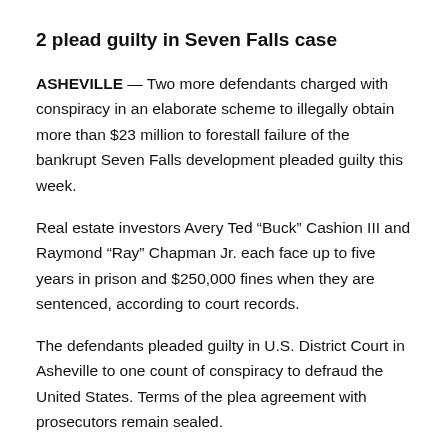2 plead guilty in Seven Falls case
ASHEVILLE — Two more defendants charged with conspiracy in an elaborate scheme to illegally obtain more than $23 million to forestall failure of the bankrupt Seven Falls development pleaded guilty this week.
Real estate investors Avery Ted “Buck” Cashion III and Raymond “Ray” Chapman Jr. each face up to five years in prison and $250,000 fines when they are sentenced, according to court records.
The defendants pleaded guilty in U.S. District Court in Asheville to one count of conspiracy to defraud the United States. Terms of the plea agreement with prosecutors remain sealed.